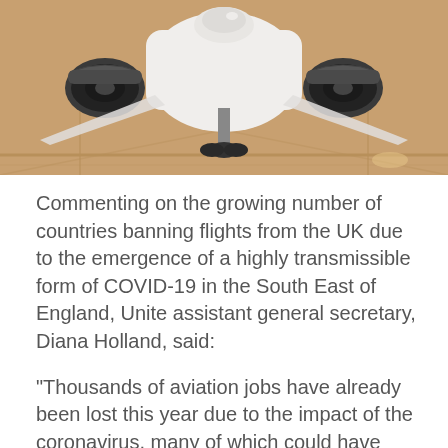[Figure (photo): Front view of a commercial airplane on a tarmac/hangar floor with warm orange-brown lighting. The aircraft nose, two engines, and landing gear are visible from a low angle.]
Commenting on the growing number of countries banning flights from the UK due to the emergence of a highly transmissible form of COVID-19 in the South East of England, Unite assistant general secretary, Diana Holland, said:
“Thousands of aviation jobs have already been lost this year due to the impact of the coronavirus, many of which could have been saved if the government had implemented early support for the industry.
“The increasing number of UK flight bans in response to the mutated strain of the virus has made the desperate need for a sector-specific